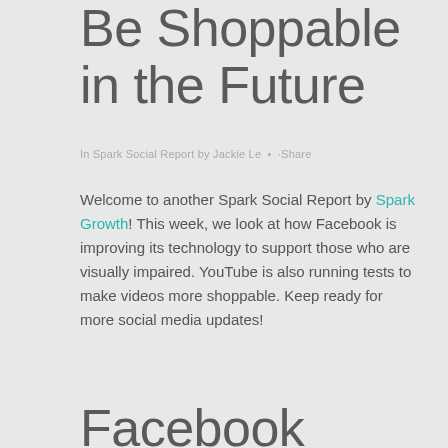Be Shoppable in the Future
In Spark Social Report by Jackie Le • ·Share
Welcome to another Spark Social Report by Spark Growth! This week, we look at how Facebook is improving its technology to support those who are visually impaired. YouTube is also running tests to make videos more shoppable. Keep ready for more social media updates!
Facebook